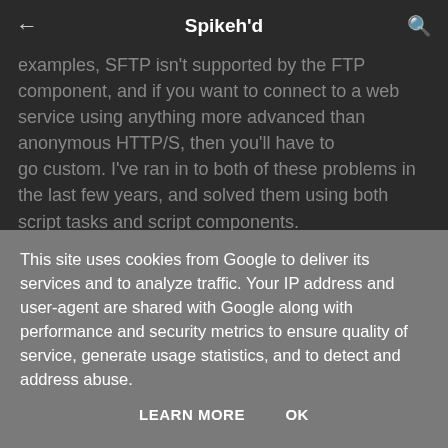Spikeh'd
examples, SFTP isn't supported by the FTP component, and if you want to connect to a web service using anything more advanced than anonymous HTTP/S, then you'll have to go custom. I've ran in to both of these problems in the last few years, and solved them using both script tasks and script components.
SQL Server 2012 comes bundled with SSDT (using the VS2010 shell), but there are also options to install SSDT in both VS2010 and VS2012 separately. This page kept popping up when I was searching for the right installer, but none of the links actually installed anything into VS2012, even though they
This site uses cookies from Google to deliver its services and to analyze traffic. Your IP address and user-agent are shared with Google along with performance and security metrics to ensure quality of service, generate usage statistics, and to detect and address abuse.
LEARN MORE   OK